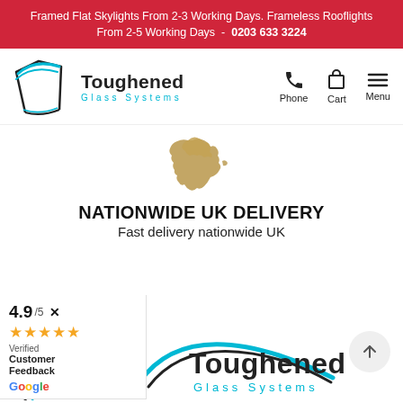Framed Flat Skylights From 2-3 Working Days. Frameless Rooflights From 2-5 Working Days - 0203 633 3224
[Figure (logo): Toughened Glass Systems logo with cyan glass panel graphic and company name]
[Figure (infographic): Brown silhouette map of England and Wales (UK)]
NATIONWIDE UK DELIVERY
Fast delivery nationwide UK
4.9 /5 ✕ ★★★★★ Verified Customer Feedback Google
[Figure (logo): Toughened Glass Systems logo bottom - large version with cyan arch graphic]